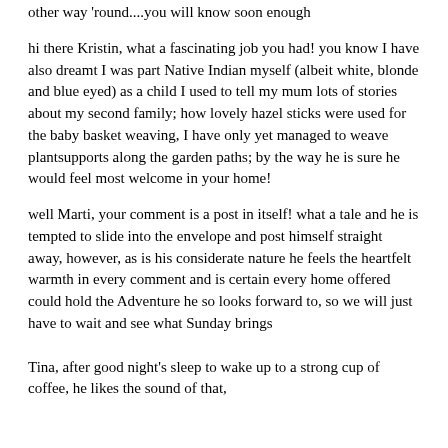other way 'round....you will know soon enough
hi there Kristin, what a fascinating job you had! you know I have also dreamt I was part Native Indian myself (albeit white, blonde and blue eyed) as a child I used to tell my mum lots of stories about my second family; how lovely hazel sticks were used for the baby basket weaving, I have only yet managed to weave plantsupports along the garden paths; by the way he is sure he would feel most welcome in your home!
well Marti, your comment is a post in itself! what a tale and he is tempted to slide into the envelope and post himself straight away, however, as is his considerate nature he feels the heartfelt warmth in every comment and is certain every home offered could hold the Adventure he so looks forward to, so we will just have to wait and see what Sunday brings
Tina, after good night's sleep to wake up to a strong cup of coffee, he likes the sound of that,